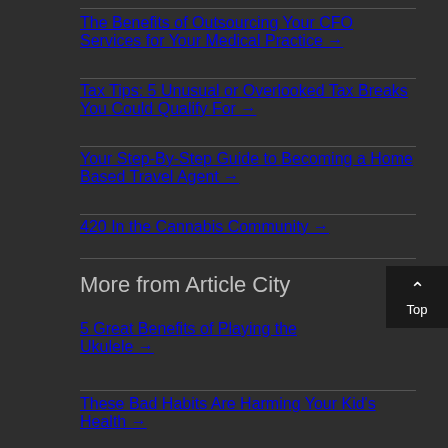The Benefits of Outsourcing Your CFO Services for Your Medical Practice →
Tax Tips: 5 Unusual or Overlooked Tax Breaks You Could Qualify For →
Your Step-By-Step Guide to Becoming a Home Based Travel Agent →
420 In the Cannabis Community →
More from Article City
5 Great Benefits of Playing the Ukulele →
These Bad Habits Are Harming Your Kid's Health →